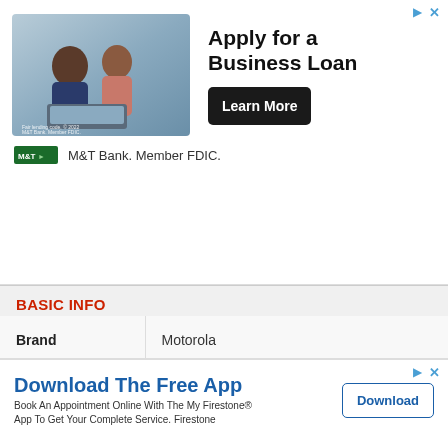[Figure (photo): Advertisement banner with photo of two people looking at a laptop, promoting M&T Bank Business Loan. Includes 'Apply for a Business Loan' headline and 'Learn More' button. M&T Bank. Member FDIC.]
BASIC INFO
| Brand | Motorola |
| Model | Motorola Moto G Pure |
| Launch date | 2021, October 14 |
| Price | NGN. 105,000 |
[Figure (screenshot): Bottom advertisement: 'Download The Free App' - Book An Appointment Online With The My Firestone App To Get Your Complete Service. Firestone. Download button.]